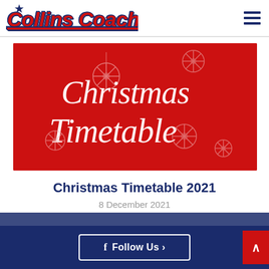Collins Coaches
[Figure (illustration): Red banner with white cursive text reading 'Christmas Timetable' decorated with white snowflake ornaments]
Christmas Timetable 2021
8 December 2021
f Follow Us ›